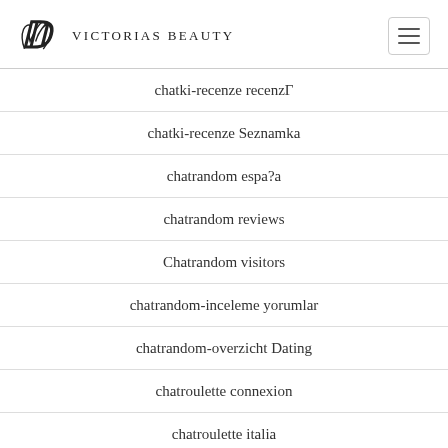Victorias Beauty
chatki-recenze recenzΓ
chatki-recenze Seznamka
chatrandom espa?a
chatrandom reviews
Chatrandom visitors
chatrandom-inceleme yorumlar
chatrandom-overzicht Dating
chatroulette connexion
chatroulette italia